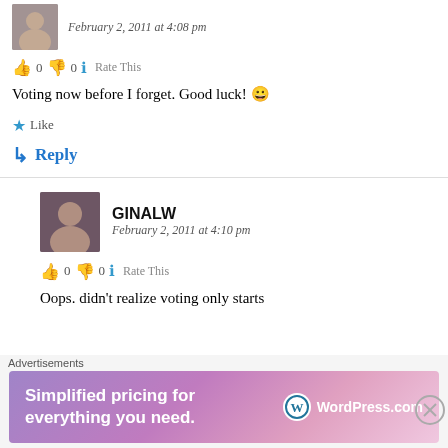[Figure (photo): User avatar photo, small square thumbnail showing a person]
February 2, 2011 at 4:08 pm
👍 0 👎 0 ℹ Rate This
Voting now before I forget. Good luck! 😀
★ Like
↳ Reply
GINALW
February 2, 2011 at 4:10 pm
👍 0 👎 0 ℹ Rate This
Oops. didn't realize voting only starts
[Figure (infographic): WordPress.com advertisement banner: Simplified pricing for everything you need.]